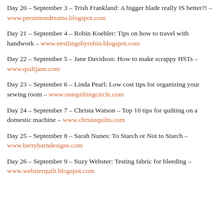Day 20 – September 3 – Trish Frankland: A bigger blade really IS better?! – www.persimondreams.blogspot.com
Day 21 – September 4 – Robin Koehler: Tips on how to travel with handwork – www.nestlingsbyrobin.blogspot.com
Day 22 – September 5 – Jane Davidson: How to make scrappy HSTs – www.quiltjane.com
Day 23 – September 6 – Linda Pearl: Low cost tips for organizing your sewing room – www.onequiltingcircle.com
Day 24 – September 7 – Christa Watson – Top 10 tips for quilting on a domestic machine – www.christaquilts.com
Day 25 – September 8 – Sarah Nunes: To Starch or Not to Starch – www.berrybarndesigns.com
Day 26 – September 9 – Suzy Webster: Testing fabric for bleeding – www.websterquilt.blogspot.com